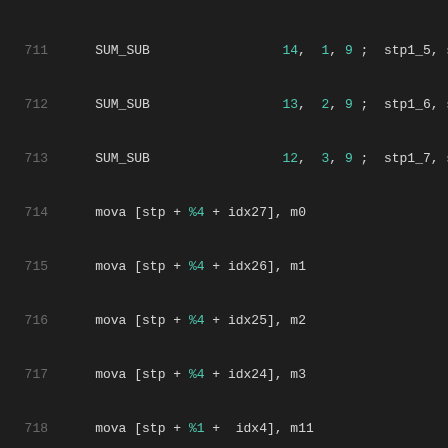711  SUM_SUB  14, 1, 9 ; stp1_5, stp
712  SUM_SUB  13, 2, 9 ; stp1_6, stp
713  SUM_SUB  12, 3, 9 ; stp1_7, stp
714  mova [stp + %4 + idx27], m0
715  mova [stp + %4 + idx26], m1
716  mova [stp + %4 + idx25], m2
717  mova [stp + %4 + idx24], m3
718  mova [stp + %1 +  idx4], m11
719  mova [stp + %1 +  idx5], m14
720  mova [stp + %1 +  idx6], m13
721  mova [stp + %1 +  idx7], m12
722
723  ; 8-11, 20-23 final stage
724  mova  m0, [stp + %3 + idx20]
725  mova  m1, [stp + %3 + idx21]
726  mova  m2, [stp + %3 + idx22]
727  mova  m3, [stp + %3 + idx23]
728  SUM_SUB  7, 0, 9 ; stp1_11, st
729  SUM_SUB  6, 1, 9 ; stp1_10, st
730  SUM_SUB  5, 2, 9 ;  stp1_9, st
731  SUM_SUB  4, 3, 9 ;  stp1_8, st
732  mova [stp + %3 + idx8], m4